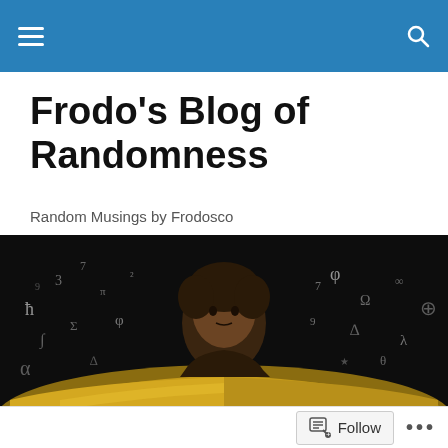Navigation bar with menu and search icons
Frodo's Blog of Randomness
Random Musings by Frodosco
[Figure (photo): A boy looking up from an open glowing book with mathematical symbols and numbers floating around in a dark background]
15 Day Book Blogger Challenge: Day 4
Follow ...